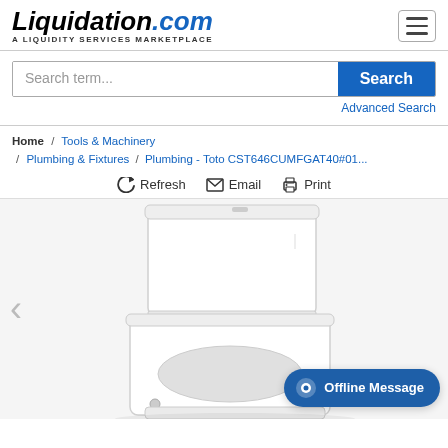[Figure (logo): Liquidation.com logo with tagline 'A LIQUIDITY SERVICES MARKETPLACE']
Search term...
Search
Advanced Search
Home / Tools & Machinery / Plumbing & Fixtures / Plumbing - Toto CST646CUMFGAT40#01...
Refresh  Email  Print
[Figure (photo): White Toto toilet with tank, shown from a side/front angle on white background]
Offline Message